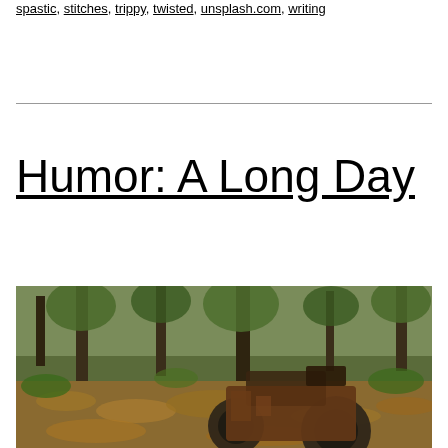spastic, stitches, trippy, twisted, unsplash.com, writing
Humor: A Long Day
[Figure (photo): An old rusted tractor or farm machinery abandoned in a forest covered with fallen autumn leaves, surrounded by trees with green undergrowth]